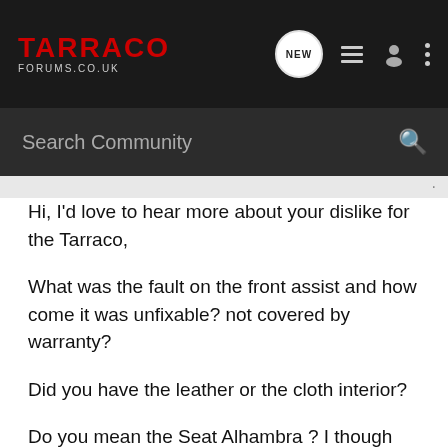TARRACO FORUMS.CO.UK
Search Community
Hi, I'd love to hear more about your dislike for the Tarraco,
What was the fault on the front assist and how come it was unfixable? not covered by warranty?
Did you have the leather or the cloth interior?
Do you mean the Seat Alhambra ? I though the Sharan was a VW
I only have mine over a week now and no problem with the seats itselt, but I have cloth interior, full electric, 19inch and DCC which I think adds to ride comfort. I noticed the DCC in comfort mode makes a big difference to ride quality, I'm glad I